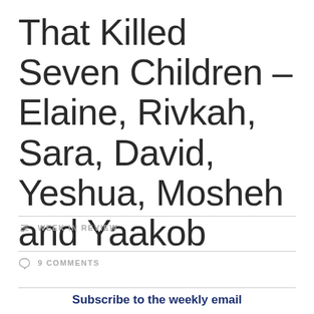That Killed Seven Children – Elaine, Rivkah, Sara, David, Yeshua, Mosheh and Yaakob
WEEK IN REVIEW
9 COMMENTS
Subscribe to the weekly email